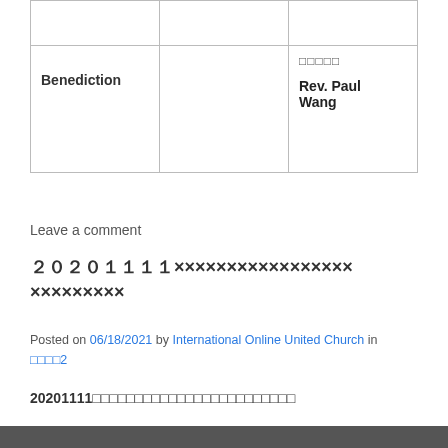|  |  |  |
| --- | --- | --- |
|  |  |  |
| 　　Benediction |  | □□□□□

Rev. Paul Wang |
Leave a comment
２０２０１１１１×××××××××××××××××××××××××××××
Posted on 06/18/2021 by International Online United Church in □□□□2
20201111□□□□□□□□□□□□□□□□□□□□□□□□